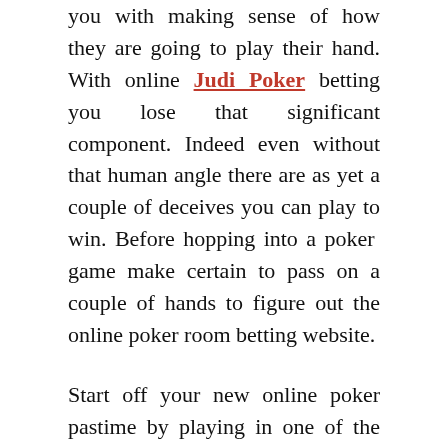you with making sense of how they are going to play their hand. With online Judi Poker betting you lose that significant component. Indeed even without that human angle there are as yet a couple of deceives you can play to win. Before hopping into a poker game make certain to pass on a couple of hands to figure out the online poker room betting website.
Start off your new online poker pastime by playing in one of the free online poker room betting destinations to get acclimated with the quicker paced games. Normally three online poker hands takes a similar time as one hand played vis-à-vis. When you feel sufficiently good to bet with genuine cash search out a portion of the littler offering on the web poker room betting destinations. This will assist you with getting more adjusted to the wagering scene before upping the ante a piece. At long last before signing into an online poker room betting site make certain to figure out what you